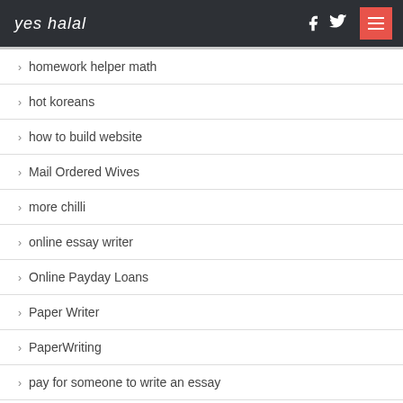yes halal
homework helper math
hot koreans
how to build website
Mail Ordered Wives
more chilli
online essay writer
Online Payday Loans
Paper Writer
PaperWriting
pay for someone to write an essay